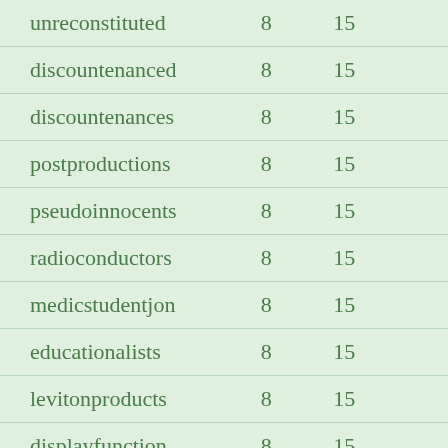| unreconstituted | 8 | 15 |
| discountenanced | 8 | 15 |
| discountenances | 8 | 15 |
| postproductions | 8 | 15 |
| pseudoinnocents | 8 | 15 |
| radioconductors | 8 | 15 |
| medicstudentjon | 8 | 15 |
| educationalists | 8 | 15 |
| levitonproducts | 8 | 15 |
| displayfunction | 8 | 15 |